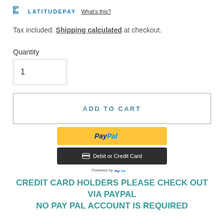[Figure (logo): LatitudePay logo with bracket icon and 'What's this?' link]
Tax included. Shipping calculated at checkout.
Quantity
1
ADD TO CART
[Figure (screenshot): PayPal payment buttons: PayPal button and Debit or Credit Card button, with 'Powered by PayPal' text]
CREDIT CARD HOLDERS PLEASE CHECK OUT VIA PAYPAL
NO PAY PAL ACCOUNT IS REQUIRED